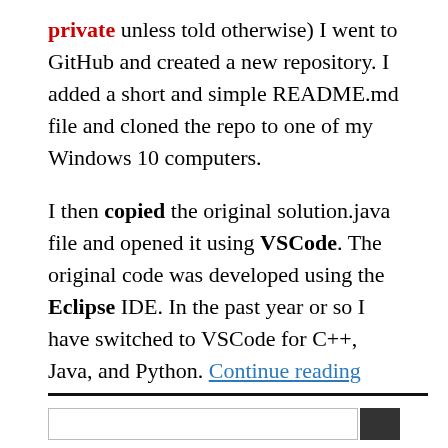private unless told otherwise) I went to GitHub and created a new repository. I added a short and simple README.md file and cloned the repo to one of my Windows 10 computers.
I then copied the original solution.java file and opened it using VSCode. The original code was developed using the Eclipse IDE. In the past year or so I have switched to VSCode for C++, Java, and Python. Continue reading
May 8, 2020 / Algorithms, Java / Eclipse IDE, Java, reader message, VSCode IDE / Leave a comment